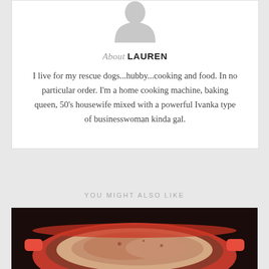[Figure (illustration): Gray placeholder avatar silhouette icon representing a person]
About LAUREN
I live for my rescue dogs...hubby...cooking and food. In no particular order. I'm a home cooking machine, baking queen, 50's housewife mixed with a powerful Ivanka type of businesswoman kinda gal.
YOU MIGHT ALSO LIKE
[Figure (photo): Photo of food in a red/orange cast iron Dutch oven or pan, showing what appears to be a braised or baked dish]